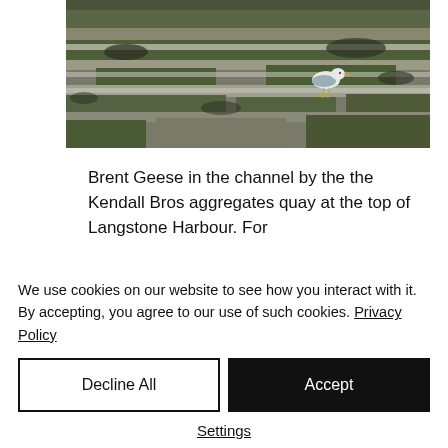[Figure (photo): A seagull standing on a muddy, algae-covered tidal flat or estuary channel. The ground is mottled green-brown with patches of water and mud. The bird is white with grey wings, standing near the center of the image.]
Brent Geese in the channel by the the Kendall Bros aggregates quay at the top of Langstone Harbour. For information about Brent Geese...
We use cookies on our website to see how you interact with it. By accepting, you agree to our use of such cookies. Privacy Policy
Decline All
Accept
Settings